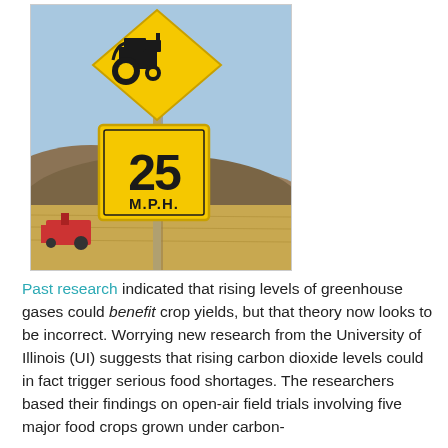[Figure (photo): Photograph of a yellow diamond-shaped road warning sign with a tractor silhouette on top, and a rectangular yellow sign below reading '25 M.P.H.' Both signs are mounted on a metal pole. In the background is an arid, hilly landscape with dry golden grass. A red piece of farm equipment is partially visible at the left.]
Past research indicated that rising levels of greenhouse gases could benefit crop yields, but that theory now looks to be incorrect. Worrying new research from the University of Illinois (UI) suggests that rising carbon dioxide levels could in fact trigger serious food shortages. The researchers based their findings on open-air field trials involving five major food crops grown under carbon-